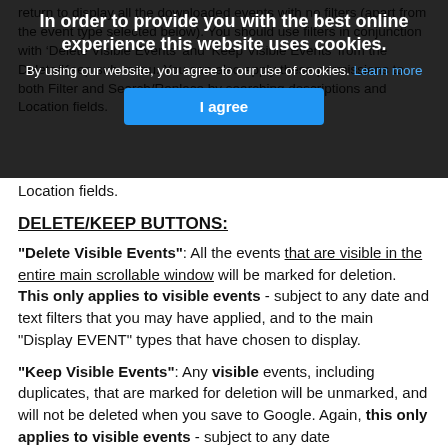return to display all the downloaded events with no filters (apart from the event type selected below). You should use filters in conjunction with 'Delete Visible Events' and 'Keep Visible Events' from the Delete/Keep sub-menu. You can also apply these permissions to both Filter and Search/Replace by searching descriptions and Location fields.
[Figure (screenshot): Cookie consent overlay with title 'In order to provide you with the best online experience this website uses cookies.', body text 'By using our website, you agree to our use of cookies. Learn more', and a blue 'I agree' button.]
Location fields.
DELETE/KEEP BUTTONS:
"Delete Visible Events": All the events that are visible in the entire main scrollable window will be marked for deletion. This only applies to visible events - subject to any date and text filters that you may have applied, and to the main "Display EVENT" types that have chosen to display.
"Keep Visible Events": Any visible events, including duplicates, that are marked for deletion will be unmarked, and will not be deleted when you save to Google. Again, this only applies to visible events - subject to any date